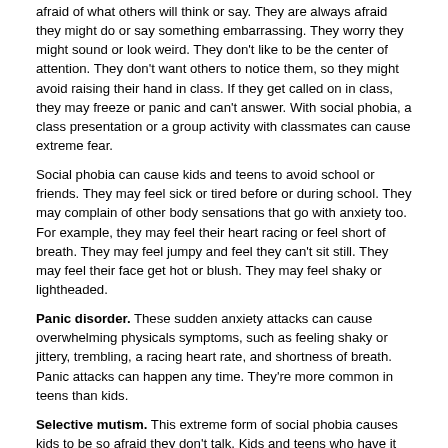afraid of what others will think or say. They are always afraid they might do or say something embarrassing. They worry they might sound or look weird. They don't like to be the center of attention. They don't want others to notice them, so they might avoid raising their hand in class. If they get called on in class, they may freeze or panic and can't answer. With social phobia, a class presentation or a group activity with classmates can cause extreme fear.
Social phobia can cause kids and teens to avoid school or friends. They may feel sick or tired before or during school. They may complain of other body sensations that go with anxiety too. For example, they may feel their heart racing or feel short of breath. They may feel jumpy and feel they can't sit still. They may feel their face get hot or blush. They may feel shaky or lightheaded.
Panic disorder. These sudden anxiety attacks can cause overwhelming physicals symptoms, such as feeling shaky or jittery, trembling, a racing heart rate, and shortness of breath. Panic attacks can happen any time. They're more common in teens than kids.
Selective mutism. This extreme form of social phobia causes kids to be so afraid they don't talk. Kids and teens who have it can talk. And they do talk at home or with their closest people. But they refuse to talk at all at school, with friends, or in other places where they have this fear.
Specific phobias. It's normal for young kids to feel scared of the dark, monsters, big animals, or loud noises like thunder or fireworks. Most of the time, when kids feel afraid, adults can help them feel safe and calm again. But a phobia is a more intense, more extreme, and longer lasting fear of a specific thing. With a phobia, a child dreads the thing they fear and tries to avoid it. If they are near what they fear, they feel terrified and are hard to comfort.
With a specific phobia, kids may have an extreme fear of things like animals, spiders, needles or shots, blood, throwing up, thunderstorms, people in